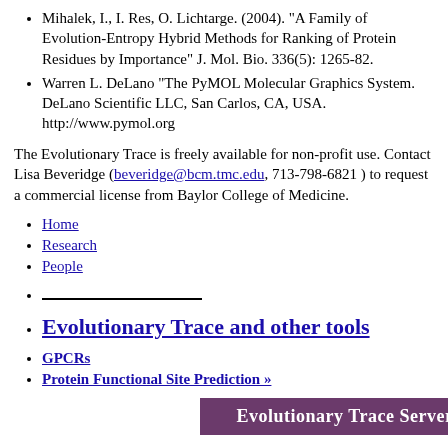Mihalek, I., I. Res, O. Lichtarge. (2004). "A Family of Evolution-Entropy Hybrid Methods for Ranking of Protein Residues by Importance" J. Mol. Bio. 336(5): 1265-82.
Warren L. DeLano "The PyMOL Molecular Graphics System. DeLano Scientific LLC, San Carlos, CA, USA. http://www.pymol.org
The Evolutionary Trace is freely available for non-profit use. Contact Lisa Beveridge (beveridge@bcm.tmc.edu, 713-798-6821 ) to request a commercial license from Baylor College of Medicine.
Home
Research
People
———————————
Evolutionary Trace and other tools
GPCRs
Protein Functional Site Prediction »
[Figure (infographic): Purple/mauve banner bar reading 'Evolutionary Trace Server']